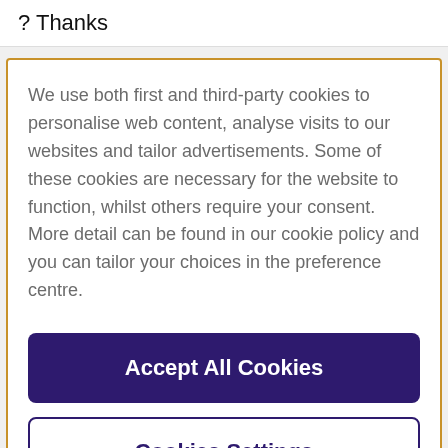? Thanks
We use both first and third-party cookies to personalise web content, analyse visits to our websites and tailor advertisements. Some of these cookies are necessary for the website to function, whilst others require your consent. More detail can be found in our cookie policy and you can tailor your choices in the preference centre.
Accept All Cookies
Cookies Settings